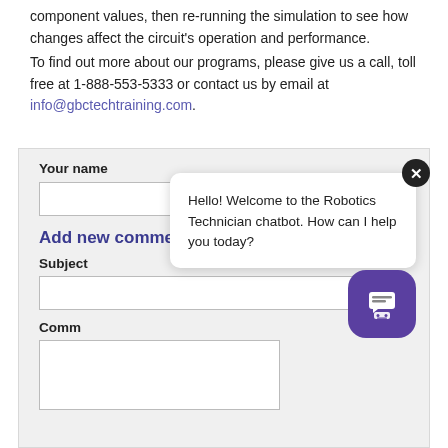component values, then re-running the simulation to see how changes affect the circuit's operation and performance.
To find out more about our programs, please give us a call, toll free at 1-888-553-5333 or contact us by email at info@gbctechtraining.com.
Your name
Add new comment
Subject
Comm
[Figure (screenshot): Chatbot popup with message 'Hello! Welcome to the Robotics Technician chatbot. How can I help you today?' and a close button (X), plus a purple chatbot icon button in the bottom right corner.]